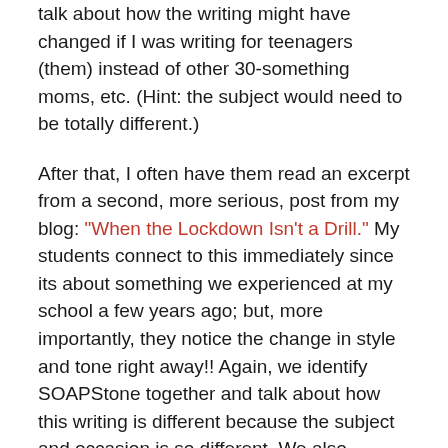talk about how the writing might have changed if I was writing for teenagers (them) instead of other 30-something moms, etc. (Hint: the subject would need to be totally different.)
After that, I often have them read an excerpt from a second, more serious, post from my blog: “When the Lockdown Isn’t a Drill.” My students connect to this immediately since its about something we experienced at my school a few years ago; but, more importantly, they notice the change in style and tone right away!! Again, we identify SOAPStone together and talk about how this writing is different because the subject and occasion is so different. We also highlight specific words and choices I made to give this piece a more serious and somber tone, and why that’s important in writing.
From there, I set kids free to find two pieces of THEIR